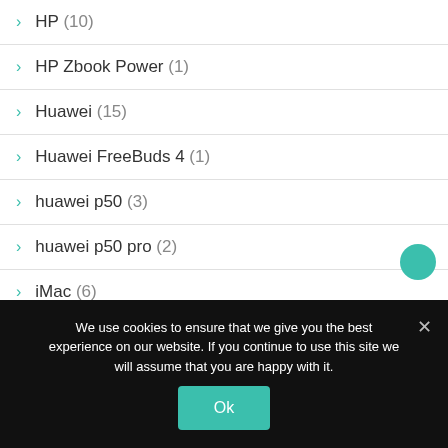HP (10)
HP Zbook Power (1)
Huawei (15)
Huawei FreeBuds 4 (1)
huawei p50 (3)
huawei p50 pro (2)
iMac (6)
Incipio (2)
We use cookies to ensure that we give you the best experience on our website. If you continue to use this site we will assume that you are happy with it.